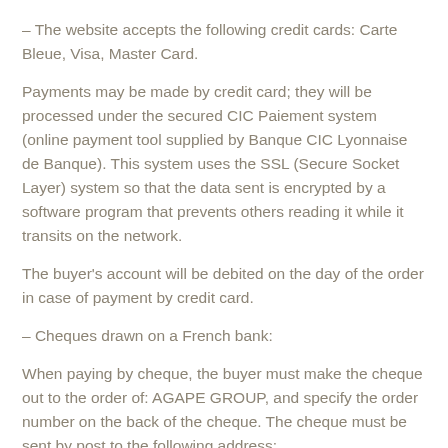– The website accepts the following credit cards: Carte Bleue, Visa, Master Card.
Payments may be made by credit card; they will be processed under the secured CIC Paiement system (online payment tool supplied by Banque CIC Lyonnaise de Banque). This system uses the SSL (Secure Socket Layer) system so that the data sent is encrypted by a software program that prevents others reading it while it transits on the network.
The buyer's account will be debited on the day of the order in case of payment by credit card.
– Cheques drawn on a French bank:
When paying by cheque, the buyer must make the cheque out to the order of: AGAPE GROUP, and specify the order number on the back of the cheque. The cheque must be sent by post to the following address: